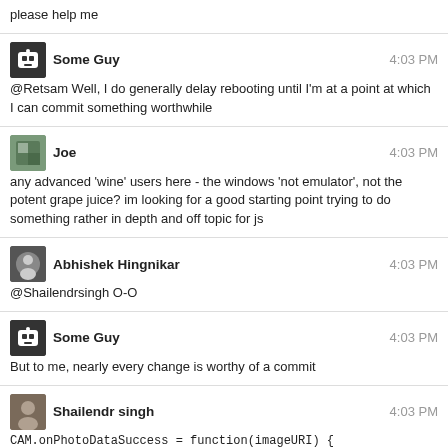please help me
Some Guy 4:03 PM
@Retsam Well, I do generally delay rebooting until I'm at a point at which I can commit something worthwhile
Joe 4:03 PM
any advanced 'wine' users here - the windows 'not emulator', not the potent grape juice? im looking for a good starting point trying to do something rather in depth and off topic for js
Abhishek Hingnikar 4:03 PM
@Shailendrsingh O-O
Some Guy 4:03 PM
But to me, nearly every change is worthy of a commit
Shailendr singh 4:03 PM
CAM.onPhotoDataSuccess = function(imageURI) {
// alert("imageURI start " + imageURI);
/*
var canvas = document.createElement("canvas");
var ctx = canvas.getContext("2d");
ctx.drawImage(imageURI, 0, 0);
ctx.font = "20px arial";
ctx.fillText("Hello", 0, 0);*/

//var a = CAM.getBase64FromImageUrl(imageURI);
//alert("imageURI finish" + imageURI.length);
// today edit
/*var img = new Image();
img.onload = function() {